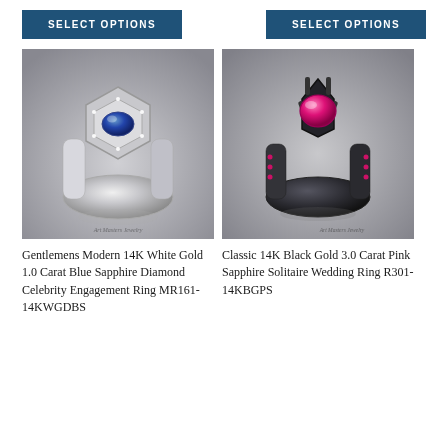SELECT OPTIONS
SELECT OPTIONS
[Figure (photo): Gentlemens Modern 14K White Gold hexagonal ring with blue sapphire center stone and diamond halo, silver band, rendered product photo on gray gradient background. Art Masters Jewelry watermark.]
[Figure (photo): Classic 14K Black Gold 3.0 Carat Pink Sapphire Solitaire ring with pink gemstone accent stones on black band, rendered product photo on gray gradient background. Art Masters Jewelry watermark.]
Gentlemens Modern 14K White Gold 1.0 Carat Blue Sapphire Diamond Celebrity Engagement Ring MR161-14KWGDBS
Classic 14K Black Gold 3.0 Carat Pink Sapphire Solitaire Wedding Ring R301-14KBGPS